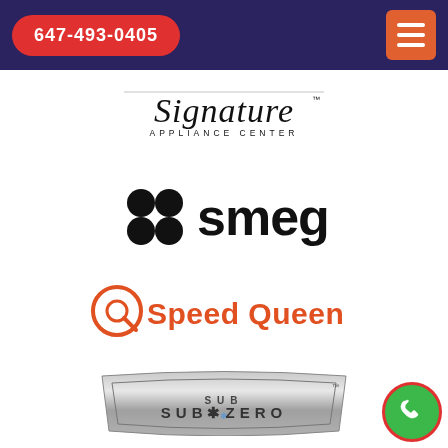647-493-0405
[Figure (logo): Signature Appliance Center logo in cursive/script style]
[Figure (logo): Smeg brand logo with dot cluster icon and 'smeg' wordmark in black]
[Figure (logo): Speed Queen brand logo with orange circular icon and orange bold text]
[Figure (logo): Sub-Zero brand logo in metallic silver badge style]